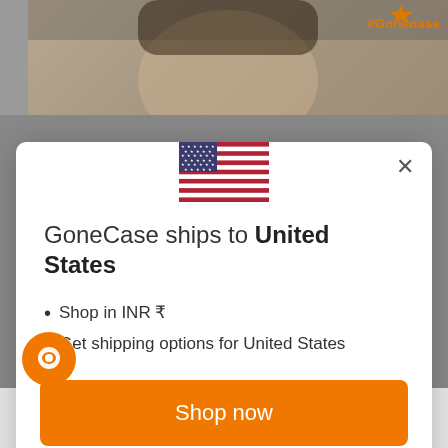[Figure (screenshot): Background image of a person's face (blurred/dimmed) with #Goneoase hashtag in orange in top right corner]
[Figure (illustration): US flag SVG illustration inside modal dialog]
GoneCase ships to United States
Shop in INR ₹
Get shipping options for United States
Shop now
Change shipping country
Aanchal's Quirky Tale With Gonecase